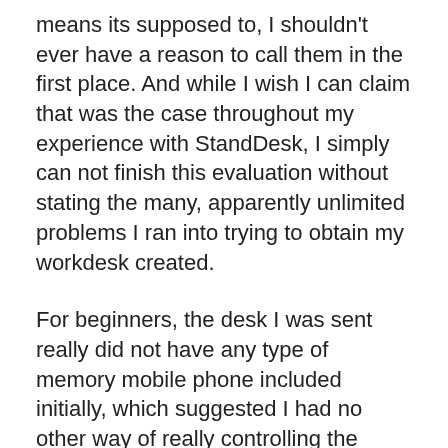means its supposed to, I shouldn't ever have a reason to call them in the first place. And while I wish I can claim that was the case throughout my experience with StandDesk, I simply can not finish this evaluation without stating the many, apparently unlimited problems I ran into trying to obtain my workdesk created.
For beginners, the desk I was sent really did not have any type of memory mobile phone included initially, which suggested I had no other way of really controlling the up/down function on the desk itself. I called StandDesk regarding this issue, who got back to me around a day later on with an apology and a guarantee that a new one would certainly be shipped out shortly.